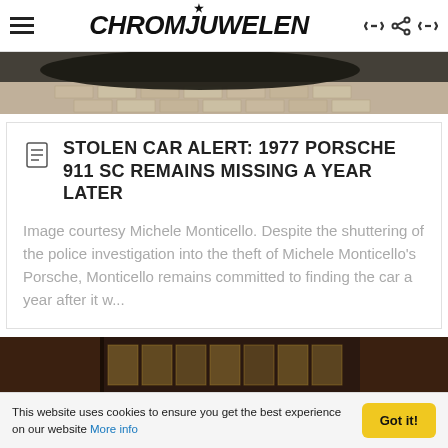CHROMJUWELEN
[Figure (photo): Top portion of a car photo, showing dark vehicle and brick/paving stone ground]
STOLEN CAR ALERT: 1977 PORSCHE 911 SC REMAINS MISSING A YEAR LATER
Image courtesy Michele Monticello. Despite the shuttering of the police investigation into the theft of Michele Monticello's Porsche, Monticello remains committed to finding the car a year after it w...
[Figure (photo): Dark interior of what appears to be a garage or library with wooden shelving, dim lighting and windows]
This website uses cookies to ensure you get the best experience on our website More info